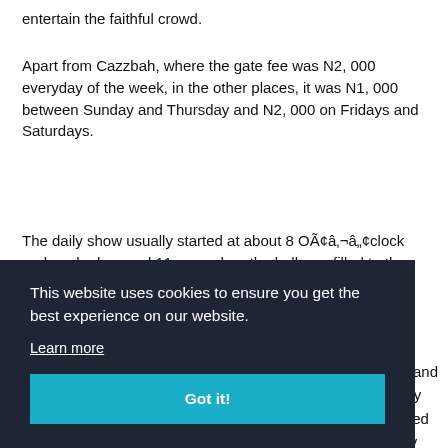entertain the faithful crowd.
Apart from Cazzbah, where the gate fee was N2, 000 everyday of the week, in the other places, it was N1, 000 between Sunday and Thursday and N2, 000 on Fridays and Saturdays.
The daily show usually started at about 8 OÃ¢â‚¬â„¢clock and peaked around 11 p.m. when the hall was filled to the brim.
This website uses cookies to ensure you get the best experience on our website. Learn more Got it!
es and they owed ney